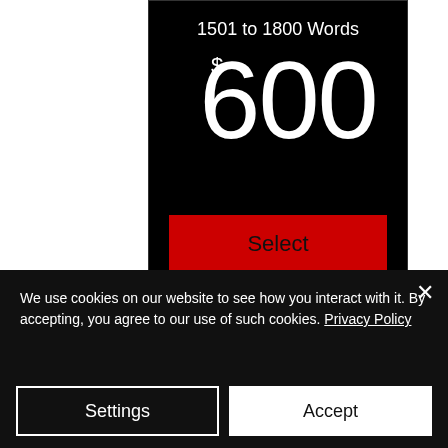1501 to 1800 Words
$ 600
Select
We use cookies on our website to see how you interact with it. By accepting, you agree to our use of such cookies. Privacy Policy
Settings
Accept